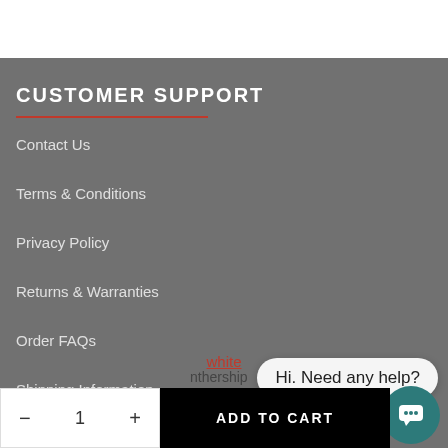CUSTOMER SUPPORT
Contact Us
Terms & Conditions
Privacy Policy
Returns & Warranties
Order FAQs
Shipping Information
[Figure (screenshot): Chat popup bubble saying 'Hi. Need any help?' with teal chat button circle]
white
nthership
ADD TO CART